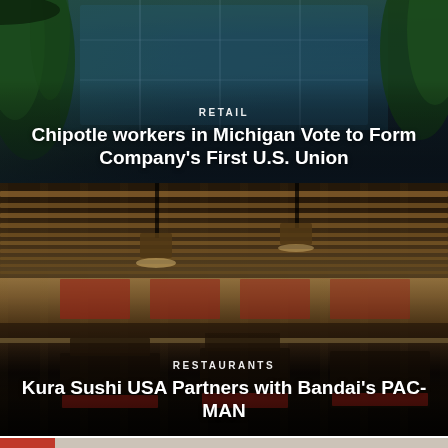[Figure (photo): Exterior of a modern glass building with tall ornamental grasses and plants in the foreground. The building has large blue-tinted glass windows and a contemporary architectural design. Photo is used as background for Chipotle retail news card.]
RETAIL
Chipotle workers in Michigan Vote to Form Company's First U.S. Union
[Figure (photo): Interior of a Kura Sushi USA restaurant showing a conveyor belt sushi bar with warm wood-slatted ceiling, pendant lighting, black booth seating with red cushions, and menu boards visible in the background.]
RESTAURANTS
Kura Sushi USA Partners with Bandai's PAC-MAN
[Figure (photo): Partial view of a third news card at the bottom of the page, showing a cropped image with red accent color visible at the left edge.]